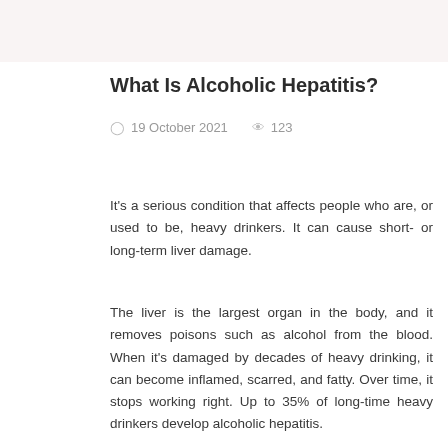What Is Alcoholic Hepatitis?
19 October 2021   123
It's a serious condition that affects people who are, or used to be, heavy drinkers. It can cause short- or long-term liver damage.
The liver is the largest organ in the body, and it removes poisons such as alcohol from the blood. When it's damaged by decades of heavy drinking, it can become inflamed, scarred, and fatty. Over time, it stops working right. Up to 35% of long-time heavy drinkers develop alcoholic hepatitis.